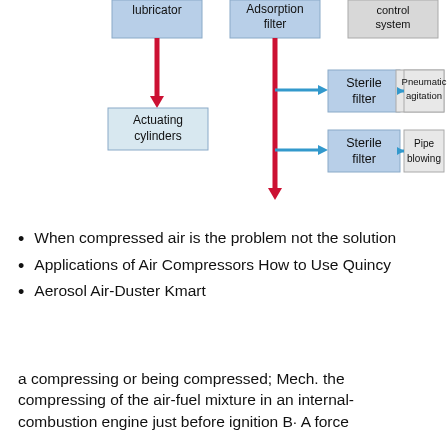[Figure (flowchart): Flowchart showing compressed air system components: lubricator feeding actuating cylinders (red arrow down), adsorption filter (red arrow down to further outputs), control system, sterile filter leading to pneumatic agitation, sterile filter leading to pipe blowing. Red arrows indicate main flow direction, blue arrows indicate branch flows.]
When compressed air is the problem not the solution
Applications of Air Compressors How to Use Quincy
Aerosol Air-Duster Kmart
a compressing or being compressed; Mech. the compressing of the air-fuel mixture in an internal-combustion engine just before ignition B· A force